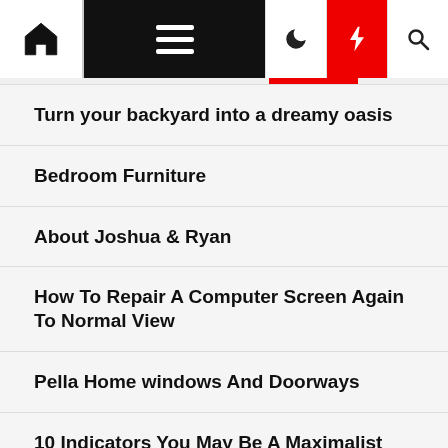Navigation bar with home icon, hamburger menu, moon icon, lightning icon, search icon
Turn your backyard into a dreamy oasis
Bedroom Furniture
About Joshua & Ryan
How To Repair A Computer Screen Again To Normal View
Pella Home windows And Doorways
10 Indicators You May Be A Maximalist
Residence Style Guide
Home Style Guide